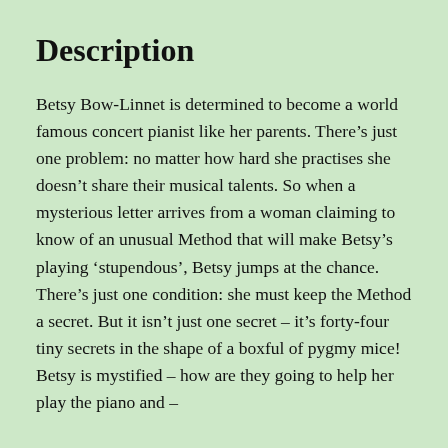Description
Betsy Bow-Linnet is determined to become a world famous concert pianist like her parents. There’s just one problem: no matter how hard she practises she doesn’t share their musical talents. So when a mysterious letter arrives from a woman claiming to know of an unusual Method that will make Betsy’s playing ‘stupendous’, Betsy jumps at the chance. There’s just one condition: she must keep the Method a secret. But it isn’t just one secret – it’s forty-four tiny secrets in the shape of a boxful of pygmy mice! Betsy is mystified – how are they going to help her play the piano and –